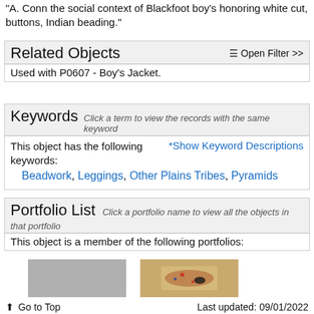"A. Conn  the social context of Blackfoot boy's honoring white cut, buttons, Indian beading."
Related Objects
☰ Open Filter >>
Used with P0607 - Boy's Jacket.
Keywords  Click a term to view the records with the same keyword
This object has the following keywords:
*Show Keyword Descriptions
Beadwork, Leggings, Other Plains Tribes, Pyramids
Portfolio List  Click a portfolio name to view all the objects in that portfolio
This object is a member of the following portfolios:
[Figure (photo): Gray placeholder thumbnail image]
[Figure (photo): Color thumbnail of a beaded artifact]
⬆ Go to Top    Last updated: 09/01/2022